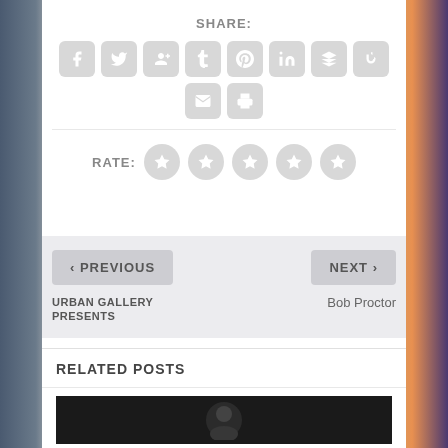SHARE:
[Figure (infographic): Row of social media share buttons: Facebook, Twitter, Google+, Tumblr, Pinterest, LinkedIn, Buffer, StumbleUpon]
[Figure (infographic): Second row of share buttons: Email and Print]
RATE: (5 star rating icons)
< PREVIOUS
NEXT >
URBAN GALLERY PRESENTS
Bob Proctor
RELATED POSTS
[Figure (photo): Dark photo thumbnail for a related post]